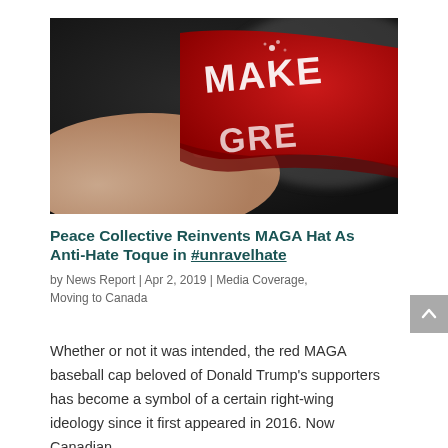[Figure (photo): Close-up of a red MAGA baseball cap with white embroidered text reading MAKE, held by a hand with red fingernails. Dark blurred background.]
Peace Collective Reinvents MAGA Hat As Anti-Hate Toque in #unravelhate
by News Report | Apr 2, 2019 | Media Coverage, Moving to Canada
Whether or not it was intended, the red MAGA baseball cap beloved of Donald Trump's supporters has become a symbol of a certain right-wing ideology since it first appeared in 2016. Now Canadian